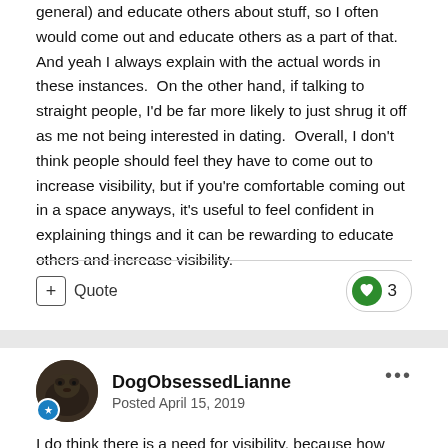general) and educate others about stuff, so I often would come out and educate others as a part of that.  And yeah I always explain with the actual words in these instances.  On the other hand, if talking to straight people, I'd be far more likely to just shrug it off as me not being interested in dating.  Overall, I don't think people should feel they have to come out to increase visibility, but if you're comfortable coming out in a space anyways, it's useful to feel confident in explaining things and it can be rewarding to educate others and increase visibility.
Quote  ♥ 3
DogObsessedLianne
Posted April 15, 2019
I do think there is a need for visibility, because how can people accept us if they don't know about us. It is work though dealing with the questions, but again if they don't get answers then they definitely won't understand. It does help in some ways the online